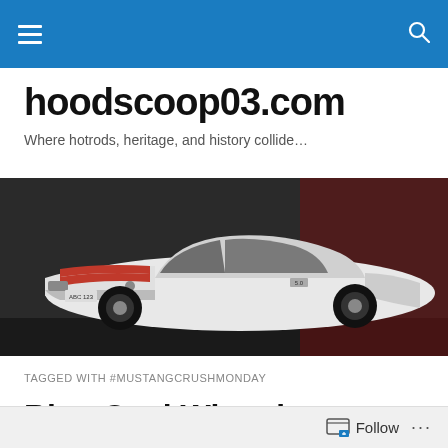hoodscoop03.com navigation bar
hoodscoop03.com
Where hotrods, heritage, and history collide…
[Figure (photo): White Ford Mustang with red racing stripes on a dark background, side profile view]
TAGGED WITH #MUSTANGCRUSHMONDAY
Blue Oval Wizards… #mustangcrushmonday
Follow